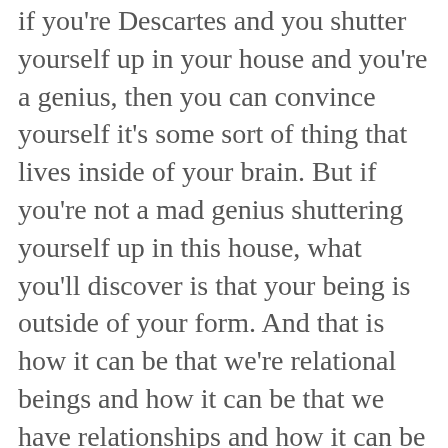if you're Descartes and you shutter yourself up in your house and you're a genius, then you can convince yourself it's some sort of thing that lives inside of your brain. But if you're not a mad genius shuttering yourself up in this house, what you'll discover is that your being is outside of your form. And that is how it can be that we're relational beings and how it can be that we have relationships and how it can be that we feel so close to other people.
[Figure (screenshot): Advertisement for DraftKings Reign Makers Football showing the DraftKings logo with crown, 'REIGN MAKERS' in bold italic white text, 'FOOTBALL' in orange, '6-CARDS' badge, and DraftKings logo in green and white on dark background]